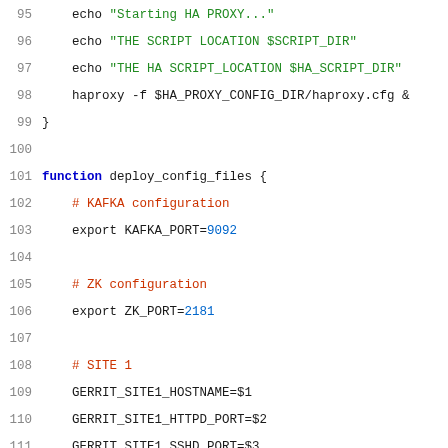Source code listing lines 95-116 showing shell script with deploy_config_files function, echo commands, haproxy startup, KAFKA configuration, ZK configuration, SITE 1 and SITE 2 variable assignments